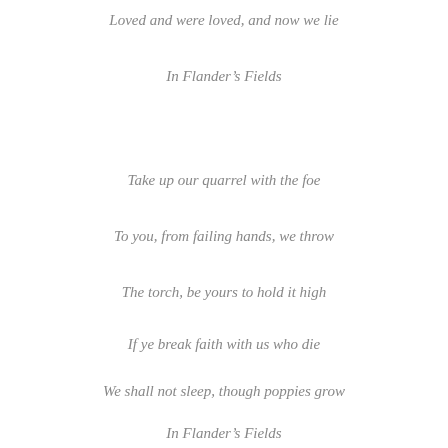Loved and were loved, and now we lie
In Flander’s Fields
Take up our quarrel with the foe
To you, from failing hands, we throw
The torch, be yours to hold it high
If ye break faith with us who die
We shall not sleep, though poppies grow
In Flander’s Fields